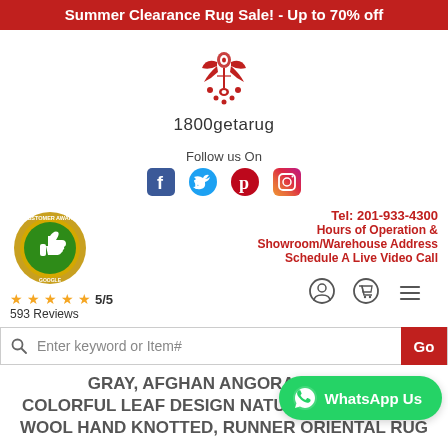Summer Clearance Rug Sale! - Up to 70% off
[Figure (logo): 1800getarug ornate red logo with text '1800getarug' below]
Follow us On
[Figure (infographic): Social media icons: Facebook, Twitter, Pinterest, Instagram]
[Figure (infographic): Customer Award badge with thumbs up]
★★★★★ 5/5
593 Reviews
Tel: 201-933-4300
Hours of Operation & Showroom/Warehouse Address
Schedule A Live Video Call
[Figure (infographic): User account icon, shopping cart icon, hamburger menu icon]
Enter keyword or Item#
GRAY, AFGHAN ANGORA COLORFUL LEAF DESIGN NATURAL DYES, SOFT WOOL HAND KNOTTED, RUNNER ORIENTAL RUG
[Figure (infographic): WhatsApp Us button in green]